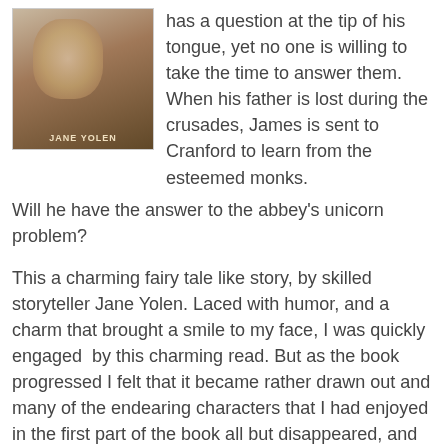[Figure (photo): Book cover image showing an illustrated scene with a figure and animals, author name Jane Yolen at the bottom]
has a question at the tip of his tongue, yet no one is willing to take the time to answer them. When his father is lost during the crusades, James is sent to Cranford to learn from the esteemed monks.
Will he have the answer to the abbey's unicorn problem?
This a charming fairy tale like story, by skilled storyteller Jane Yolen. Laced with humor, and a charm that brought a smile to my face, I was quickly engaged  by this charming read. But as the book progressed I felt that it became rather drawn out and many of the endearing characters that I had enjoyed in the first part of the book all but disappeared, and even the tone of the book seemed to change and it began to feel more choppy.
Overall, this was a nice book, and still very enjoyable for children. Yet I felt that it lost momentum part way through, and never quite regained it, even near the end, which I thought was more than a bit rushed. James is a smart young man, and I liked how he had a hunger for learning. In the end